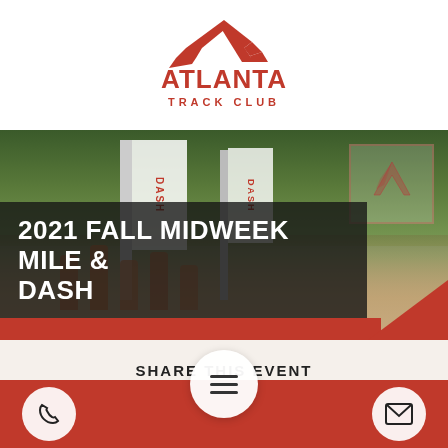[Figure (logo): Atlanta Track Club logo with red winged figure and red text 'ATLANTA TRACK CLUB']
[Figure (photo): Race photo showing runners at a Dash event with race banners, trees in background, red strip at bottom]
2021 FALL MIDWEEK MILE & DASH
SHARE THIS EVENT
[Figure (infographic): Share icons row with Facebook and email icons]
[Figure (infographic): Footer navigation bar with phone icon on left, hamburger menu button in center, and email icon on right on red background]